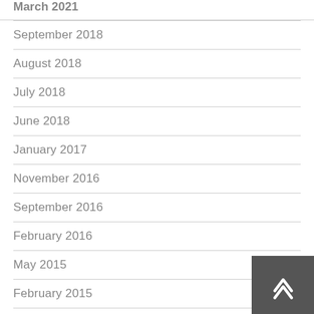March 2021
September 2018
August 2018
July 2018
June 2018
January 2017
November 2016
September 2016
February 2016
May 2015
February 2015
January 2015
December 2014